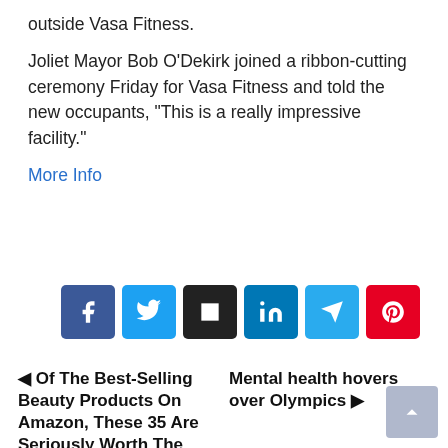outside Vasa Fitness.
Joliet Mayor Bob O'Dekirk joined a ribbon-cutting ceremony Friday for Vasa Fitness and told the new occupants, “This is a really impressive facility.”
More Info
[Figure (other): Social share buttons: Facebook, Twitter, Black share, LinkedIn, Telegram, Pinterest]
◄ Of The Best-Selling Beauty Products On Amazon, These 35 Are Seriously Worth The Hype
Mental health hovers over Olympics ►